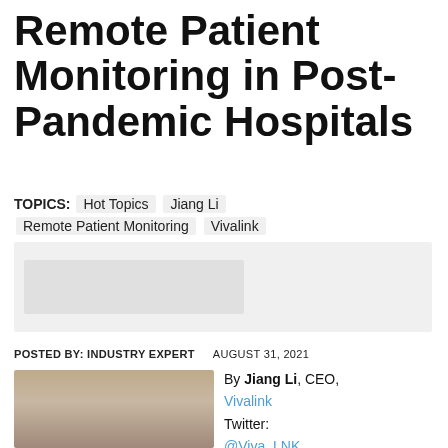Remote Patient Monitoring in Post-Pandemic Hospitals
TOPICS:   Hot Topics   Jiang Li   Remote Patient Monitoring   Vivalink
[Figure (other): Advertisement banner placeholder with light gray background]
POSTED BY: INDUSTRY EXPERT   AUGUST 31, 2021
[Figure (photo): Headshot photo of Jiang Li, a man with short dark hair and glasses, smiling, wearing a light-colored shirt]
By Jiang Li, CEO, Vivalink Twitter: @Viva_LNK

The collective